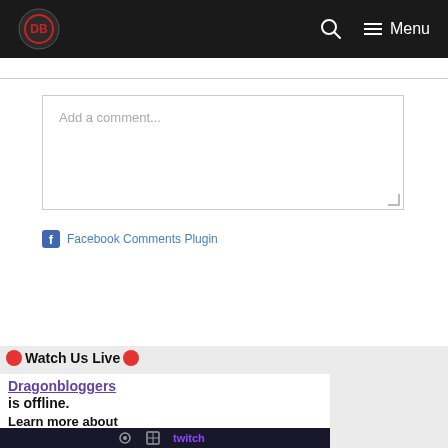DragonBloggers — Menu
Add a comment...
Facebook Comments Plugin
Watch Us Live
[Figure (screenshot): Twitch embed widget showing DragonBloggers is offline. Text: 'DragonBloggers is offline. Learn more about them on their channel!' with Twitch branding bar at bottom.]